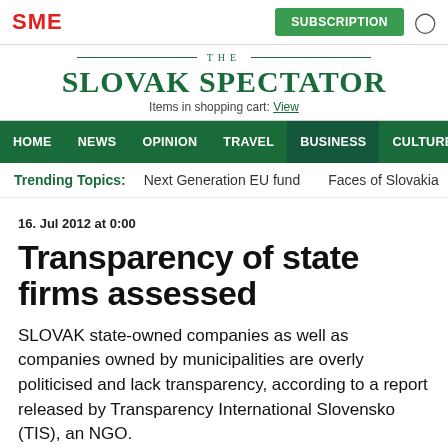SME | SUBSCRIPTION
THE SLOVAK SPECTATOR
Items in shopping cart: View
HOME NEWS OPINION TRAVEL BUSINESS CULTURE ≡ MENU 🔍
Trending Topics: Next Generation EU fund   Faces of Slovakia   Highwa
16. Jul 2012 at 0:00
Transparency of state firms assessed
SLOVAK state-owned companies as well as companies owned by municipalities are overly politicised and lack transparency, according to a report released by Transparency International Slovensko (TIS), an NGO.